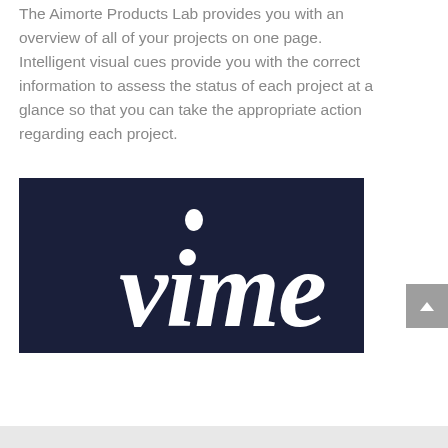The Aimorte Products Lab provides you with an overview of all of your projects on one page. Intelligent visual cues provide you with the correct information to assess the status of each project at a glance so that you can take the appropriate action regarding each project.
[Figure (logo): Dark navy blue rectangle containing partial white italic 'vime' text (Vimeo logo, partially cropped)]